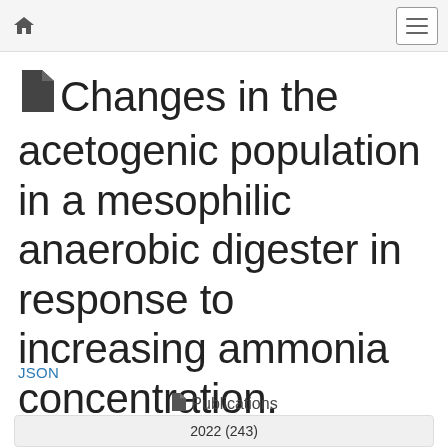home | menu
Changes in the acetogenic population in a mesophilic anaerobic digester in response to increasing ammonia concentration.
JSON
Publications
2022 (243)